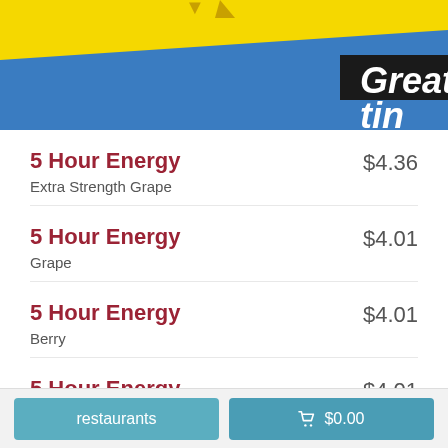[Figure (photo): Product image showing a yellow and blue energy drink package with 'Great' text visible, partially cropped at top of page]
5 Hour Energy  Extra Strength Grape  $4.36
5 Hour Energy  Grape  $4.01
5 Hour Energy  Berry  $4.01
5 Hour Energy  Pomegranate  $4.01
restaurants   $0.00